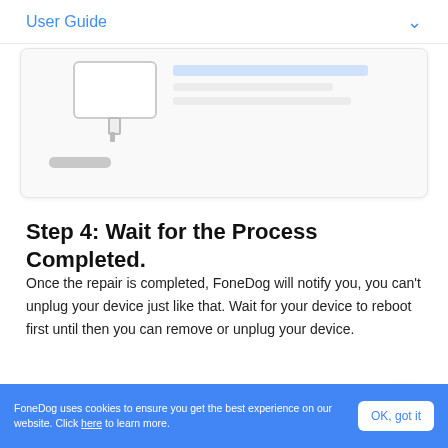User Guide
[Figure (screenshot): Screenshot of FoneDog iOS System Recovery tool showing a phone connection illustration and a progress bar]
Step 4: Wait for the Process Completed.
Once the repair is completed, FoneDog will notify you, you can't unplug your device just like that. Wait for your device to reboot first until then you can remove or unplug your device.
[Figure (screenshot): Screenshot of FoneDog Toolkit for iOS - iOS System Recovery page showing warning text in red: Do not disconnect or use your device, otherwise, it may fail to repair.]
FoneDog uses cookies to ensure you get the best experience on our website. Click here to learn more.